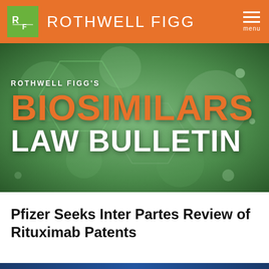ROTHWELL FIGG
[Figure (screenshot): Rothwell Figg Biosimilars Law Bulletin hero banner with orange and white text on a green molecular background]
Pfizer Seeks Inter Partes Review of Rituximab Patents